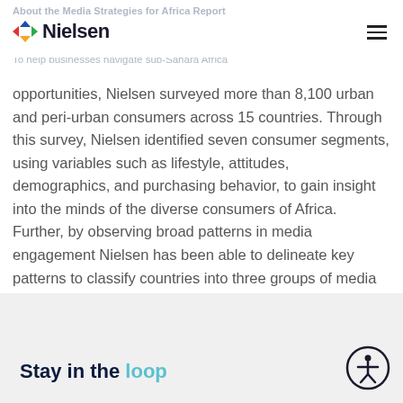About the Media Strategies for Africa Report | Nielsen
To help businesses navigate sub-Sahara Africa opportunities, Nielsen surveyed more than 8,100 urban and peri-urban consumers across 15 countries. Through this survey, Nielsen identified seven consumer segments, using variables such as lifestyle, attitudes, demographics, and purchasing behavior, to gain insight into the minds of the diverse consumers of Africa. Further, by observing broad patterns in media engagement Nielsen has been able to delineate key patterns to classify countries into three groups of media consumers: savvy, selective and simple.
Stay in the loop